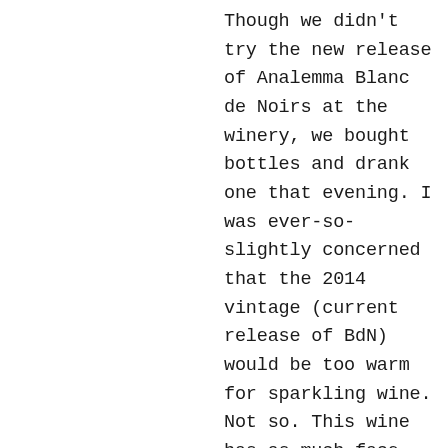Though we didn't try the new release of Analemma Blanc de Noirs at the winery, we bought bottles and drank one that evening. I was ever-so-slightly concerned that the 2014 vintage (current release of BdN) would be too warm for sparkling wine. Not so. This wine has as much face-melting acidity as the 2011 vintage that stole by heart years ago. This is one of my favorite wines on the planet, and I drink a lotta Champagne. With each sip, a new layer of flavor, a hint of red raspberry Pinot fruit, a whiff of lees-y oxidation, creamy texture, and then